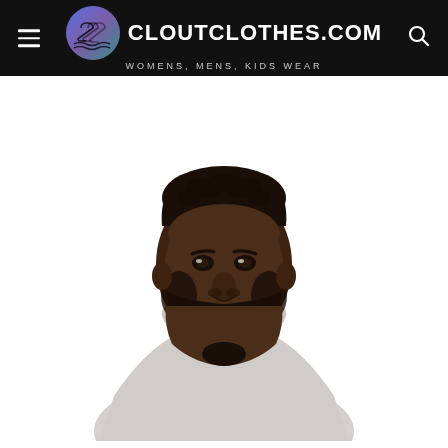CLOUTCLOTHES.COM — WOMENS, MENS, KIDS WEAR
[Figure (photo): A young Black man with short hair and a beard, wearing a light grey hoodie, photographed from the chest up against a white background. Product/model photo for cloutclothes.com.]